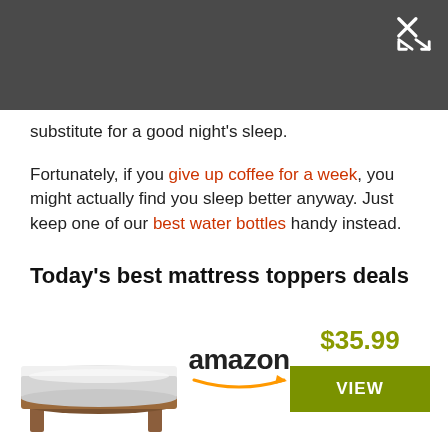substitute for a good night's sleep.
Fortunately, if you give up coffee for a week, you might actually find you sleep better anyway. Just keep one of our best water bottles handy instead.
Today's best mattress toppers deals
[Figure (photo): Mattress topper product image showing a white mattress on a wooden bed frame]
[Figure (logo): Amazon logo with orange arrow underneath]
$35.99
VIEW
$180